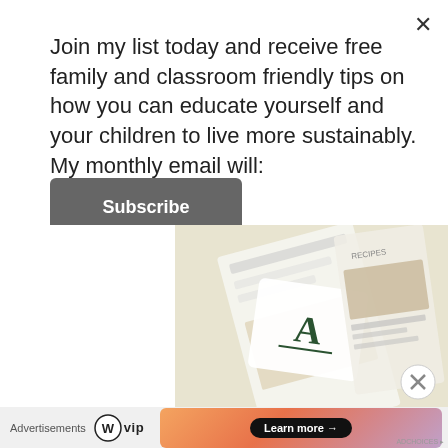Join my list today and receive free family and classroom friendly tips on how you can educate yourself and your children to live more sustainably. My monthly email will:
Subscribe
[Figure (screenshot): Partial screenshot of a website or app showing papers/cards with an 'A' logo on a beige/cream background]
[Figure (logo): WordPress VIP logo (W circle + 'vip' text) with a peach/coral gradient 'Learn more →' button advertisement]
Advertisements